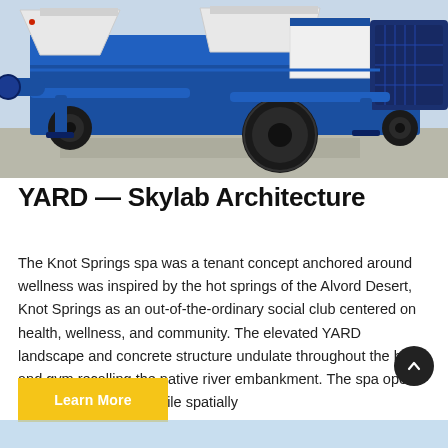[Figure (photo): Blue industrial machinery (concrete pump or similar heavy equipment) with large black tires, white hoppers, and bright blue metal frame, photographed outdoors on a concrete surface in daylight.]
YARD — Skylab Architecture
The Knot Springs spa was a tenant concept anchored around wellness was inspired by the hot springs of the Alvord Desert, Knot Springs as an out-of-the-ordinary social club centered on health, wellness, and community. The elevated YARD landscape and concrete structure undulate throughout the baths and gym recalling the native river embankment. The spa opens up to the landscape while spatially